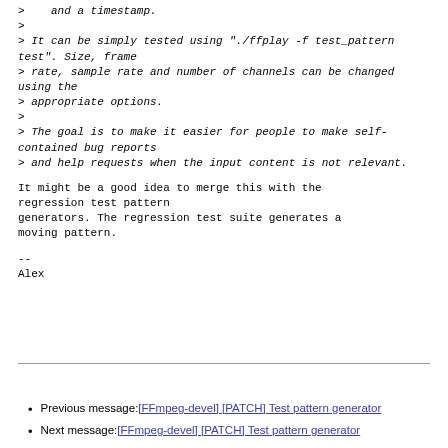>    and a timestamp.
>
> It can be simply tested using "./ffplay -f test_pattern test". Size, frame
> rate, sample rate and number of channels can be changed using the
> appropriate options.
>
> The goal is to make it easier for people to make self-contained bug reports
> and help requests when the input content is not relevant.
It might be a good idea to merge this with the regression test pattern generators. The regression test suite generates a moving pattern.
--
Alex
Previous message: [FFmpeg-devel] [PATCH] Test pattern generator
Next message: [FFmpeg-devel] [PATCH] Test pattern generator